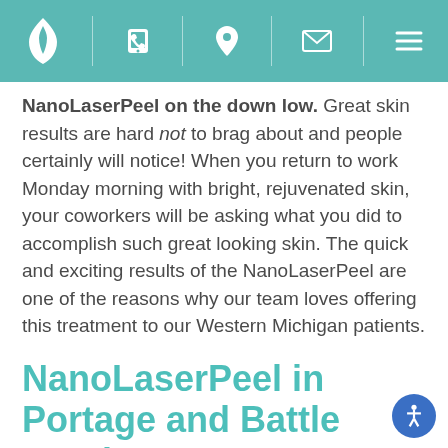[Navigation bar with logo, phone, location, email, and menu icons]
NanoLaserPeel on the down low. Great skin results are hard not to brag about and people certainly will notice! When you return to work Monday morning with bright, rejuvenated skin, your coworkers will be asking what you did to accomplish such great looking skin. The quick and exciting results of the NanoLaserPeel are one of the reasons why our team loves offering this treatment to our Western Michigan patients.
NanoLaserPeel in Portage and Battle Creek
Whether you are looking to improve boring, dull